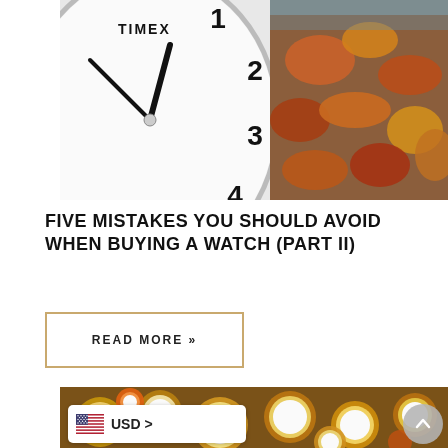[Figure (photo): Close-up of a Timex watch face showing numbers 1-4, alongside autumn leaves on water background]
FIVE MISTAKES YOU SHOULD AVOID WHEN BUYING A WATCH (PART II)
READ MORE »
[Figure (photo): Collection of many golden/brass alarm clocks and watches piled together]
USD >